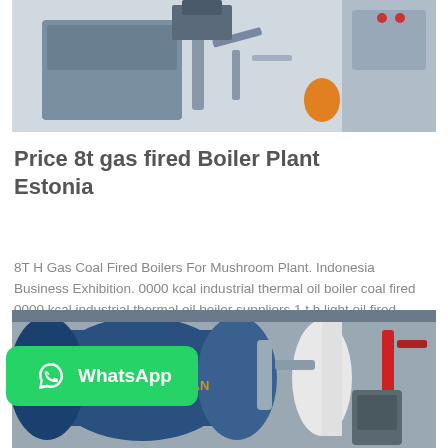[Figure (photo): Industrial boiler equipment with piping and control panel, viewed from side angle]
Price 8t gas fired Boiler Plant Estonia
8T H Gas Coal Fired Boilers For Mushroom Plant. Indonesia Business Exhibition. 0000 kcal industrial thermal oil boiler coal fired 0000 kcal industrial thermal oil boiler suppliers 1 t h light oil fired steam...
[Figure (photo): Large industrial boiler unit in a plant facility with blue cylindrical body and associated equipment]
[Figure (other): WhatsApp contact button with green background and WhatsApp logo]